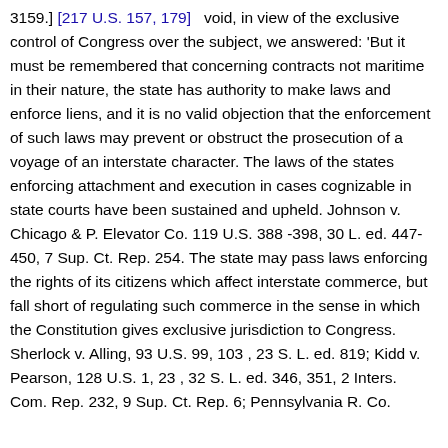3159.] [217 U.S. 157, 179]   void, in view of the exclusive control of Congress over the subject, we answered: 'But it must be remembered that concerning contracts not maritime in their nature, the state has authority to make laws and enforce liens, and it is no valid objection that the enforcement of such laws may prevent or obstruct the prosecution of a voyage of an interstate character. The laws of the states enforcing attachment and execution in cases cognizable in state courts have been sustained and upheld. Johnson v. Chicago & P. Elevator Co. 119 U.S. 388 -398, 30 L. ed. 447-450, 7 Sup. Ct. Rep. 254. The state may pass laws enforcing the rights of its citizens which affect interstate commerce, but fall short of regulating such commerce in the sense in which the Constitution gives exclusive jurisdiction to Congress. Sherlock v. Alling, 93 U.S. 99, 103 , 23 S. L. ed. 819; Kidd v. Pearson, 128 U.S. 1, 23 , 32 S. L. ed. 346, 351, 2 Inters. Com. Rep. 232, 9 Sup. Ct. Rep. 6; Pennsylvania R. Co.